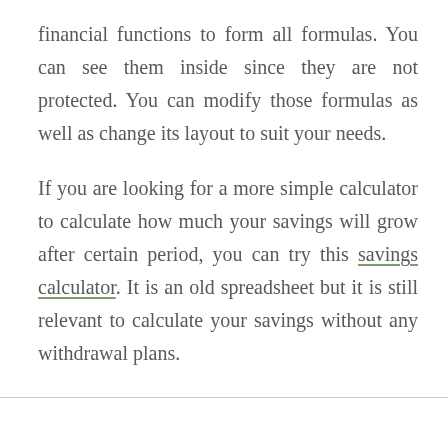financial functions to form all formulas. You can see them inside since they are not protected. You can modify those formulas as well as change its layout to suit your needs.
If you are looking for a more simple calculator to calculate how much your savings will grow after certain period, you can try this savings calculator. It is an old spreadsheet but it is still relevant to calculate your savings without any withdrawal plans.